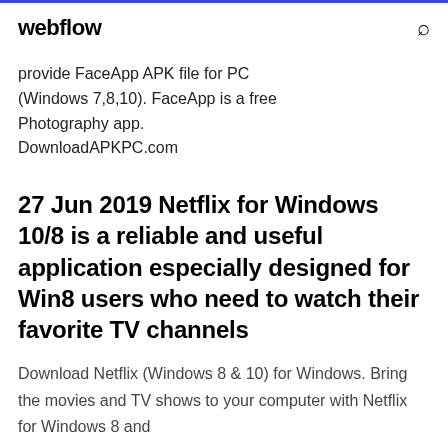webflow
provide FaceApp APK file for PC (Windows 7,8,10). FaceApp is a free Photography app. DownloadAPKPC.com
27 Jun 2019 Netflix for Windows 10/8 is a reliable and useful application especially designed for Win8 users who need to watch their favorite TV channels
Download Netflix (Windows 8 & 10) for Windows. Bring the movies and TV shows to your computer with Netflix for Windows 8 and